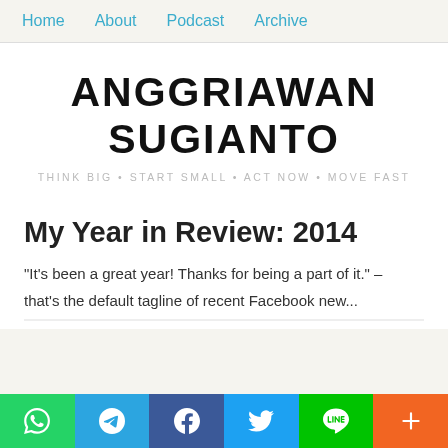Home   About   Podcast   Archive
ANGGRIAWAN SUGIANTO
THINK BIG • START SMALL • ACT NOW • MOVE FAST
My Year in Review: 2014
"It's been a great year! Thanks for being a part of it." – that's the default tagline of recent Facebook new...
Social share bar: WhatsApp, Telegram, Facebook, Twitter, LINE, More